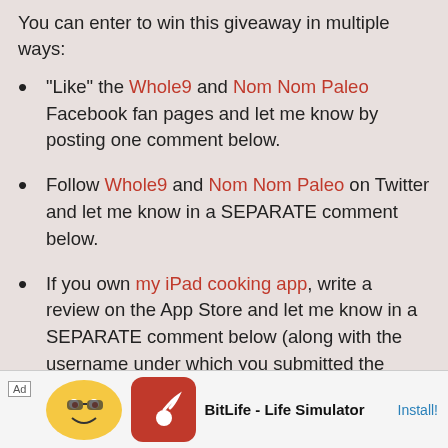You can enter to win this giveaway in multiple ways:
“Like” the Whole9 and Nom Nom Paleo Facebook fan pages and let me know by posting one comment below.
Follow Whole9 and Nom Nom Paleo on Twitter and let me know in a SEPARATE comment below.
If you own my iPad cooking app, write a review on the App Store and let me know in a SEPARATE comment below (along with the username under which you submitted the review).
You can get up to THREE additional entries by sh... ab...
[Figure (screenshot): Advertisement banner for BitLife - Life Simulator app with Ad label, mascot character, red icon with sperm symbol, app name and Install button]